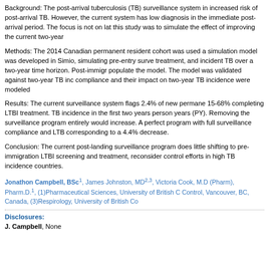Background: The post-arrival tuberculosis (TB) surveillance system in increased risk of post-arrival TB. However, the current system has low diagnosis in the immediate post-arrival period. The focus is not on lat this study was to simulate the effect of improving the current two-year
Methods: The 2014 Canadian permanent resident cohort was used a simulation model was developed in Simio, simulating pre-entry surve treatment, and incident TB over a two-year time horizon. Post-immigr populate the model. The model was validated against two-year TB inc compliance and their impact on two-year TB incidence were modeled
Results: The current surveillance system flags 2.4% of new permane 15-68% completing LTBI treatment. TB incidence in the first two years person years (PY). Removing the surveillance program entirely would increase. A perfect program with full surveillance compliance and LTB corresponding to a 4.4% decrease.
Conclusion: The current post-landing surveillance program does little shifting to pre-immigration LTBI screening and treatment, reconsider control efforts in high TB incidence countries.
Jonathon Campbell, BSc1, James Johnston, MD2,3, Victoria Cook, M.D (Pharm), Pharm.D.1, (1)Pharmaceutical Sciences, University of British C Control, Vancouver, BC, Canada, (3)Respirology, University of British Co
Disclosures:
J. Campbell, None